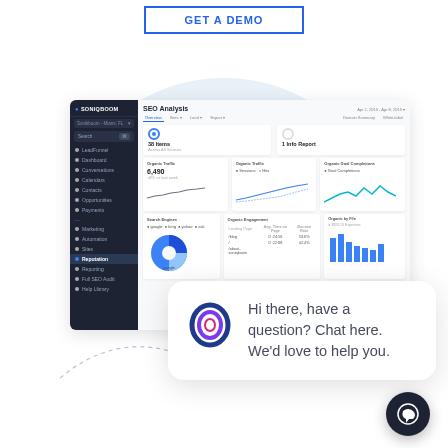GET A DEMO
[Figure (screenshot): SONIQBOOM SEO Analysis dashboard screenshot showing sidebar navigation, organic traffic metrics, line charts, pie chart, and data tables. Date range: Apr 2, 2019 – Apr 8, 2019]
close
[Figure (illustration): Chat popup widget with abstract circular logo icon and text: Hi there, have a question? Chat here. We'd love to help you.]
[Figure (illustration): Dark circular chat launcher button with chat bubble icon in the bottom right corner]